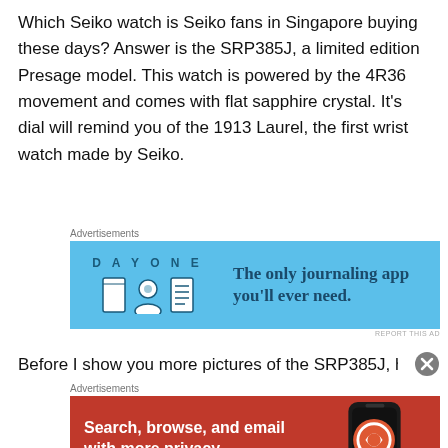Which Seiko watch is Seiko fans in Singapore buying these days? Answer is the SRP385J, a limited edition Presage model. This watch is powered by the 4R36 movement and comes with flat sapphire crystal. It's dial will remind you of the 1913 Laurel, the first wrist watch made by Seiko.
[Figure (other): Day One journaling app advertisement: blue background with DAY ONE logo and icons, text 'The only journaling app you'll ever need.']
Before I show you more pictures of the SRP385J, here's a
[Figure (other): DuckDuckGo advertisement: red/orange background with text 'Search, browse, and email with more privacy. All in One Free App' and DuckDuckGo logo with phone image.]